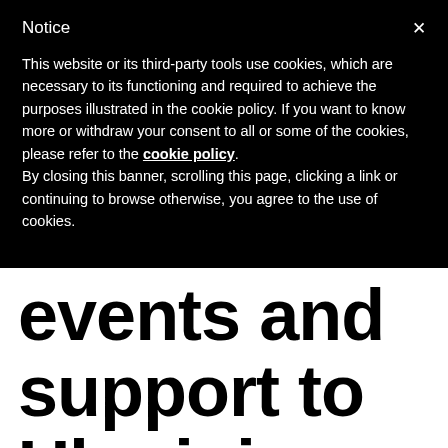Notice
This website or its third-party tools use cookies, which are necessary to its functioning and required to achieve the purposes illustrated in the cookie policy. If you want to know more or withdraw your consent to all or some of the cookies, please refer to the cookie policy.
By closing this banner, scrolling this page, clicking a link or continuing to browse otherwise, you agree to the use of cookies.
events and support to Ukrainian Rovers